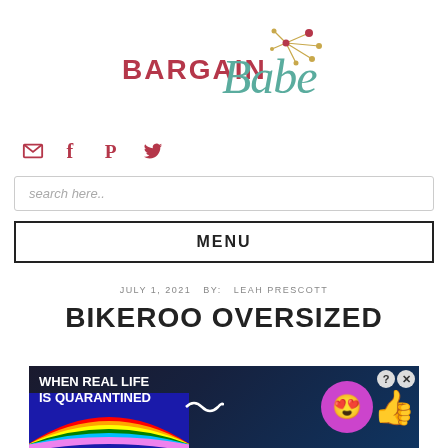[Figure (logo): Bargain Babe logo with cursive script 'Babe' in teal and bold 'BARGAIN' in dark red/crimson, decorated with a starburst/atomic motif in gold and red dots]
[Figure (infographic): Social media icons: envelope (email), Facebook f, Pinterest P, Twitter bird — all in dark red/crimson]
search here..
MENU
JULY 1, 2021 BY: LEAH PRESCOTT
BIKEROO OVERSIZED
[Figure (screenshot): Advertisement banner: 'WHEN REAL LIFE IS QUARANTINED' with rainbow background and BitLife game branding with emoji characters]